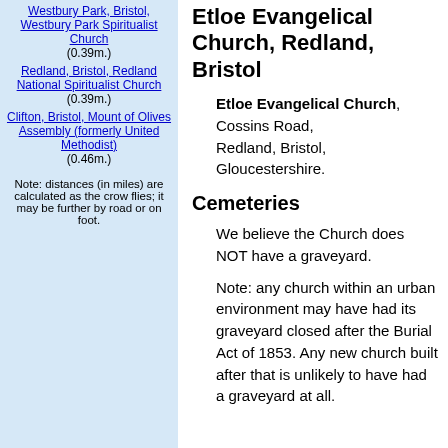Westbury Park, Bristol, Westbury Park Spiritualist Church (0.39m.)
Redland, Bristol, Redland National Spiritualist Church (0.39m.)
Clifton, Bristol, Mount of Olives Assembly (formerly United Methodist) (0.46m.)
Note: distances (in miles) are calculated as the crow flies; it may be further by road or on foot.
Etloe Evangelical Church, Redland, Bristol
Etloe Evangelical Church, Cossins Road, Redland, Bristol, Gloucestershire.
Cemeteries
We believe the Church does NOT have a graveyard.
Note: any church within an urban environment may have had its graveyard closed after the Burial Act of 1853. Any new church built after that is unlikely to have had a graveyard at all.